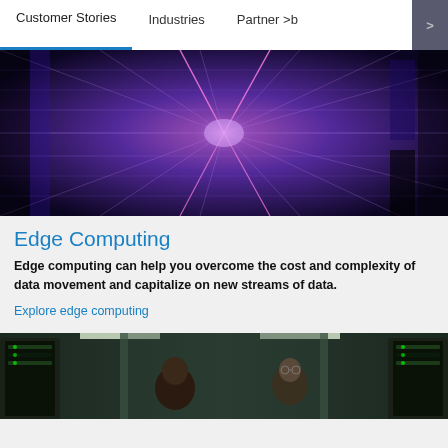Customer Stories   Industries   Partner >b
[Figure (photo): Abstract purple and blue digital grid tunnel with glowing lines converging to a vanishing point]
Edge Computing
Edge computing can help you overcome the cost and complexity of data movement and capitalize on new streams of data.
Explore edge computing
[Figure (photo): Two people working in a data center server room with green LED indicators on server racks]